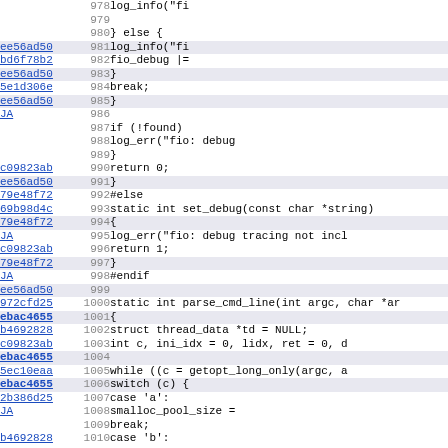[Figure (screenshot): Source code blame/annotate view showing lines 978-1010 of a C source file with commit hashes on the left, line numbers in the middle, and code on the right. Highlighted lines indicate blamed commits.]